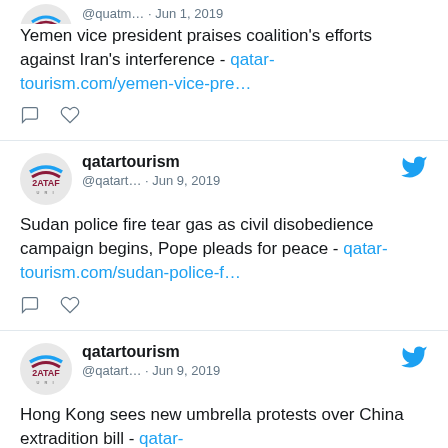Yemen vice president praises coalition's efforts against Iran's interference - qatar-tourism.com/yemen-vice-pre…
[Figure (logo): Qatar Tourism logo with QATAR URI text and blue/red arc design]
qatartourism @qatart… · Jun 9, 2019
Sudan police fire tear gas as civil disobedience campaign begins, Pope pleads for peace - qatar-tourism.com/sudan-police-f…
[Figure (logo): Qatar Tourism logo with QATAR URI text and blue/red arc design]
qatartourism @qatart… · Jun 9, 2019
Hong Kong sees new umbrella protests over China extradition bill - qatar-